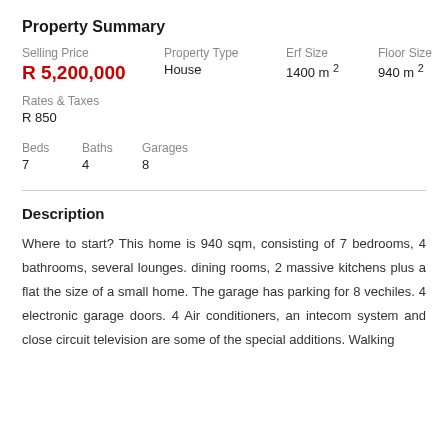Property Summary
| Selling Price | Property Type | Erf Size | Floor Size |
| --- | --- | --- | --- |
| R 5,200,000 | House | 1400 m² | 940 m² |
Rates & Taxes
R 850
| Beds | Baths | Garages |
| --- | --- | --- |
| 7 | 4 | 8 |
Description
Where to start? This home is 940 sqm, consisting of 7 bedrooms, 4 bathrooms, several lounges. dining rooms, 2 massive kitchens plus a flat the size of a small home. The garage has parking for 8 vechiles. 4 electronic garage doors. 4 Air conditioners, an intecom system and close circuit television are some of the special additions. Walking